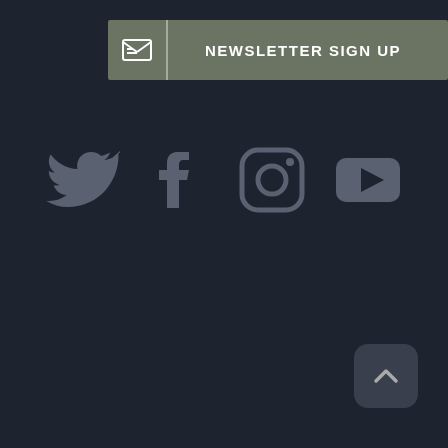[Figure (screenshot): Newsletter sign up button with envelope icon on left and bold white text 'NEWSLETTER SIGN UP' on dark olive/grey background]
[Figure (infographic): Four social media icons in grey color on dark background: Twitter bird, Facebook f, Instagram camera, YouTube play button]
[Figure (other): Back to top button - rounded square dark button with upward chevron arrow]